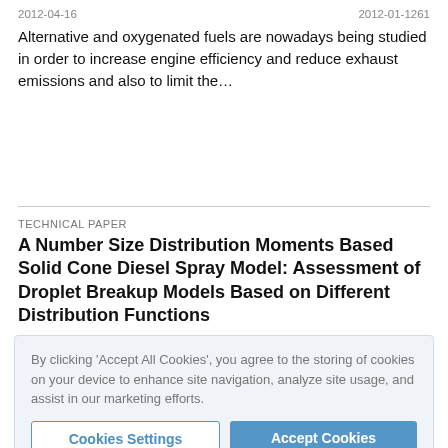2012-04-16   2012-01-1261
Alternative and oxygenated fuels are nowadays being studied in order to increase engine efficiency and reduce exhaust emissions and also to limit the…
TECHNICAL PAPER
A Number Size Distribution Moments Based Solid Cone Diesel Spray Model: Assessment of Droplet Breakup Models Based on Different Distribution Functions
2012-04-16   2012-01-X60
Creating a 'best estimate', you agree to the storing of cookies on your device to enhance site navigation, analyze site spray, and assist in our marketing efforts. the combustion…
Cookies Settings   Accept Cookies
TECHNICAL PAPER
The Development of the DL Fuel Injector Atomizer with Active Droplet